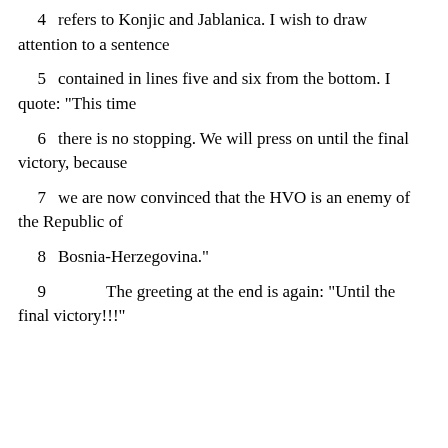4   refers to Konjic and Jablanica.  I wish to draw attention to a sentence
5   contained in lines five and six from the bottom.  I quote: "This time
6   there is no stopping.  We will press on until the final victory, because
7   we are now convinced that the HVO is an enemy of the Republic of
8   Bosnia-Herzegovina."
9        The greeting at the end is again:  "Until the final victory!!!"